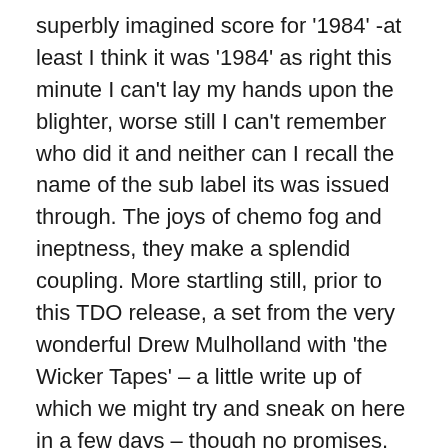superbly imagined score for '1984' -at least I think it was '1984' as right this minute I can't lay my hands upon the blighter, worse still I can't remember who did it and neither can I recall the name of the sub label its was issued through. The joys of chemo fog and ineptness, they make a splendid coupling. More startling still, prior to this TDO release, a set from the very wonderful Drew Mulholland with 'the Wicker Tapes' – a little write up of which we might try and sneak on here in a few days – though no promises. So that's two appearances from Drew this year if you count the 'Delia collaboration' for Buried Treasure, hell's teeth that's more releases than he's put out in the last 5 years. This time of asking and serviced with a 50 only cassette pressing, Tujuh Kuda take to the centre spot with a 60-minute entitled 'lotek' from off which the label have sneakily posted a 5-minute excerpt sequence. This ghost